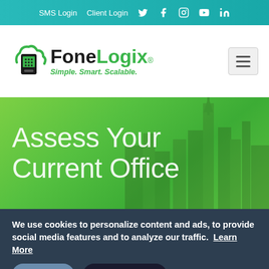SMS Login  Client Login  [Twitter] [Facebook] [Instagram] [YouTube] [LinkedIn]
[Figure (logo): FoneLogix logo with cloud and phone icon, text reading FoneLogix® Simple. Smart. Scalable.]
[Figure (screenshot): Hero banner with green gradient background and silhouette of city buildings, text reading: Assess Your Current Office]
We use cookies to personalize content and ads, to provide social media features and to analyze our traffic. Learn More
Got it!   Do not track